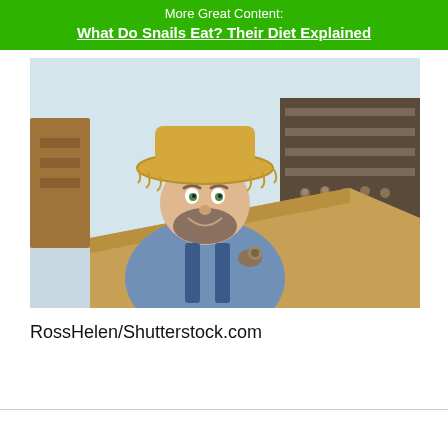More Great Content:
What Do Snails Eat? Their Diet Explained
[Figure (photo): A smiling man wearing a straw hat and blue overalls leans over a wooden board covered with snails in a greenhouse farming environment. Snails are visible on dark trays in the background.]
RossHelen/Shutterstock.com